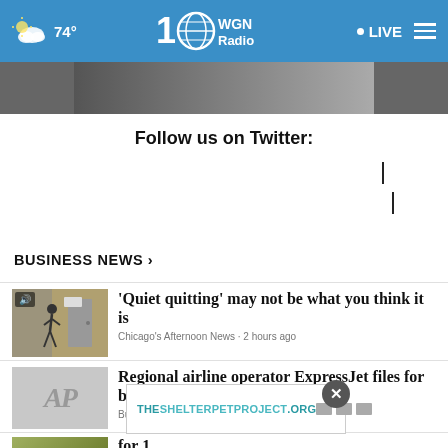74° WGN Radio LIVE
[Figure (photo): Partial photo strip at top of content area]
Follow us on Twitter:
BUSINESS NEWS ›
'Quiet quitting' may not be what you think it is — Chicago's Afternoon News • 2 hours ago
Regional airline operator ExpressJet files for bankruptcy — Business News • 3 hours ago
[Figure (screenshot): THESHELTERPETPROJECT.ORG advertisement banner]
...for 1 — News • 5 hours ago